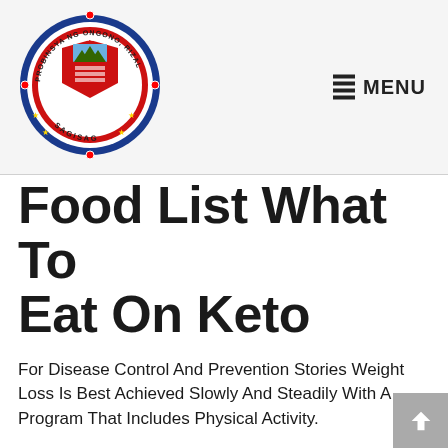[Figure (logo): Circular seal/logo of Probinsya ng Ongono, Rizal, R.P. with '1766' inscription and red shield emblem, surrounded by blue ring with gold stars]
MENU
Food List What To Eat On Keto
For Disease Control And Prevention Stories Weight Loss Is Best Achieved Slowly And Steadily With A Program That Includes Physical Activity.
Wouldn T It Be Nice When You Could Shed Pounds Simply By Taking A Tablet, Sporting A Patch, Or Rubbing In A Cream Unfortunately, Claims That You Can Shed